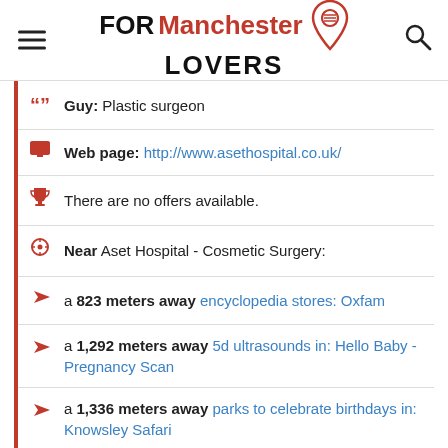FOR Manchester LOVERS
Guy: Plastic surgeon
Web page: http://www.asethospital.co.uk/
There are no offers available.
Near Aset Hospital - Cosmetic Surgery:
a 823 meters away encyclopedia stores: Oxfam
a 1,292 meters away 5d ultrasounds in: Hello Baby - Pregnancy Scan
a 1,336 meters away parks to celebrate birthdays in: Knowsley Safari
Are you the owner of the business? PROMOTE IT!